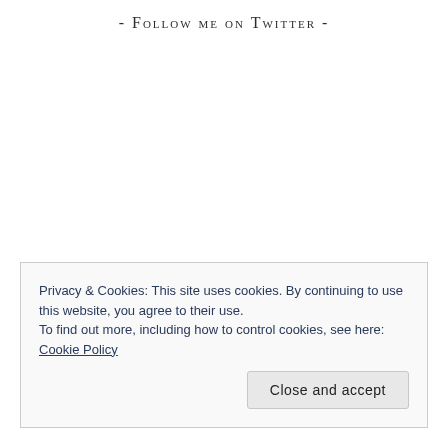- Follow me on Twitter -
Privacy & Cookies: This site uses cookies. By continuing to use this website, you agree to their use.
To find out more, including how to control cookies, see here: Cookie Policy
Close and accept